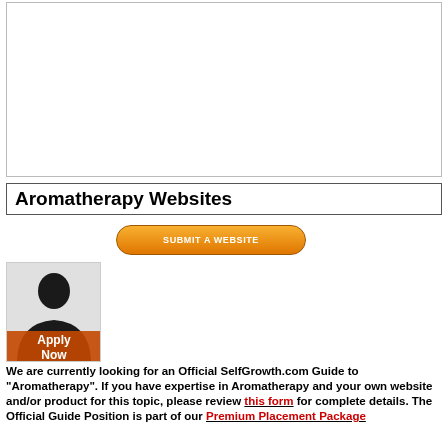[Figure (other): Large advertisement banner area (blank/white rectangle with border)]
Aromatherapy Websites
[Figure (other): Orange rounded rectangle button labeled SUBMIT A WEBSITE]
[Figure (other): Apply Now image: silhouette of a person with orange Apply Now label overlay]
We are currently looking for an Official SelfGrowth.com Guide to "Aromatherapy". If you have expertise in Aromatherapy and your own website and/or product for this topic, please review this form for complete details. The Official Guide Position is part of our Premium Placement Package
SelfGrowth.com Recommended Resources:
Aromatherapy Oils & Organic Products - Plant Guru Shop The Plant Guru's quality organic selection of pure essential oils, butters, soaps, natural oils, waxes, incense, and more. Since the beginning,